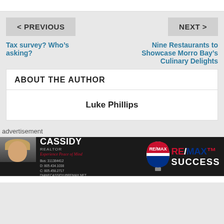< PREVIOUS
NEXT >
Tax survey? Who’s asking?
Nine Restaurants to Showcase Morro Bay’s Culinary Delights
ABOUT THE AUTHOR
Luke Phillips
advertisement
[Figure (photo): RE/MAX SUCCESS advertisement banner featuring Diane Cassidy, Realtor, with photo, contact information, and RE/MAX balloon logo]